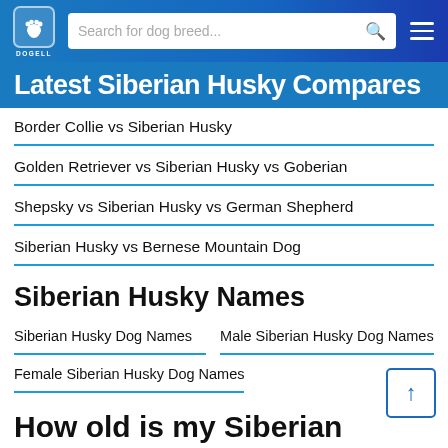DOGELL — Search for dog breed...
Latest Siberian Husky Compares
Border Collie vs Siberian Husky
Golden Retriever vs Siberian Husky vs Goberian
Shepsky vs Siberian Husky vs German Shepherd
Siberian Husky vs Bernese Mountain Dog
Siberian Husky Names
Siberian Husky Dog Names
Male Siberian Husky Dog Names
Female Siberian Husky Dog Names
How old is my Siberian Husky in human years?